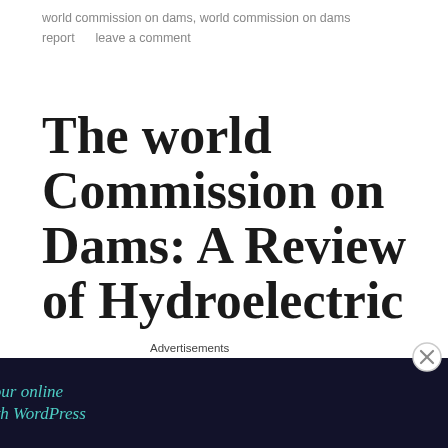world commission on dams, world commission on dams report    leave a comment
The world Commission on Dams: A Review of Hydroelectric Projects and the Impact on Indigenous Peoples and Ethnic Minorities
[Figure (infographic): Advertisement banner: 'Launch your online course with WordPress' with Learn More button on dark navy background, with tree/upload icon]